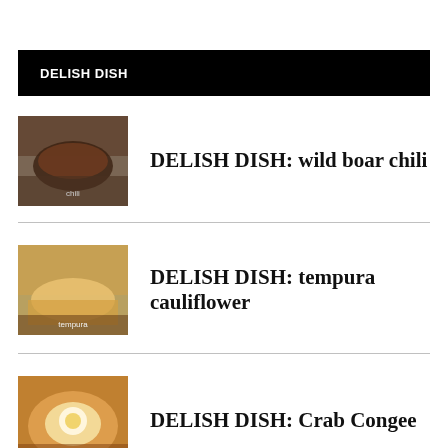DELISH DISH
DELISH DISH: wild boar chili
DELISH DISH: tempura cauliflower
DELISH DISH: Crab Congee